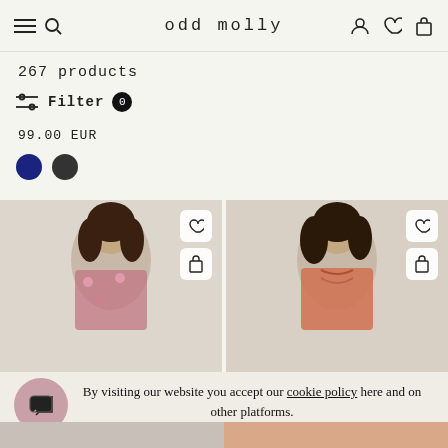odd molly
267 products
Filter 0
99.00 EUR
[Figure (other): Two color swatches: navy blue and dark grey/black circles]
[Figure (photo): Woman wearing floral patterned top, product card with heart and bag icons]
[Figure (photo): Woman wearing coral/orange blouse, product card with heart and bag icons]
By visiting our website you accept our cookie policy here and on other platforms.
Ok, Let's Shop